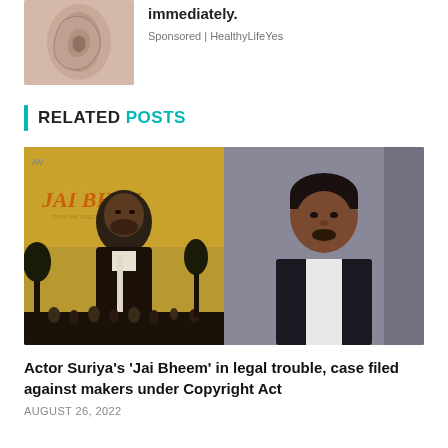[Figure (photo): Ear image used in advertisement]
immediately.
Sponsored | HealthyLifeYes
RELATED POSTS
[Figure (photo): Composite image: Jai Bhim movie poster on left showing actor in lawyer attire with crowd, and photo of actor Suriya on right in black suit]
Actor Suriya's 'Jai Bheem' in legal trouble, case filed against makers under Copyright Act
AUGUST 26, 2022